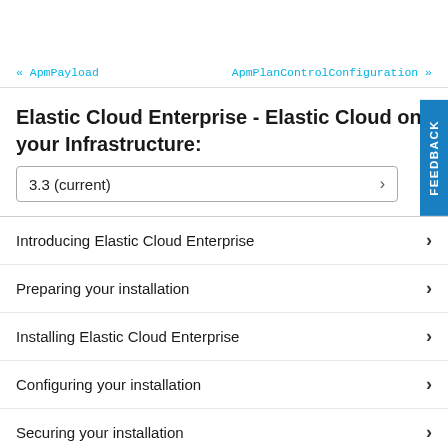« ApmPayload    ApmPlanControlConfiguration »
Elastic Cloud Enterprise - Elastic Cloud on your Infrastructure:
3.3 (current)
Introducing Elastic Cloud Enterprise
Preparing your installation
Installing Elastic Cloud Enterprise
Configuring your installation
Securing your installation